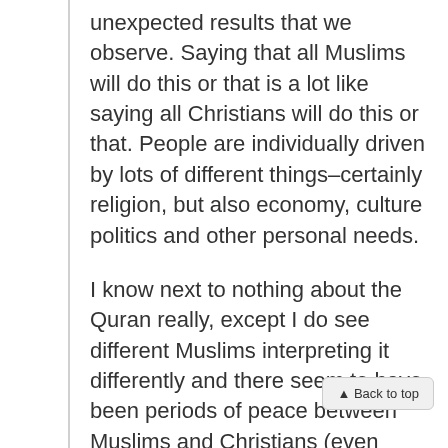unexpected results that we observe. Saying that all Muslims will do this or that is a lot like saying all Christians will do this or that. People are individually driven by lots of different things–certainly religion, but also economy, culture politics and other personal needs.
I know next to nothing about the Quran really, except I do see different Muslims interpreting it differently and there seem to have been periods of peace between Muslims and Christians (even during